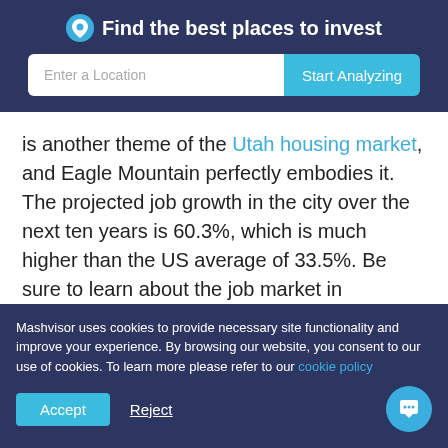Find the best places to invest
is another theme of the Utah housing market, and Eagle Mountain perfectly embodies it. The projected job growth in the city over the next ten years is 60.3%, which is much higher than the US average of 33.5%. Be sure to learn about the job market in whichever Utah city you wish to invest in, as it is a vital influencer for Utah homes for sale.
Airbnb Regulations
Mashvisor uses cookies to provide necessary site functionality and improve your experience. By browsing our website, you consent to our use of cookies. To learn more please refer to our cookie policy